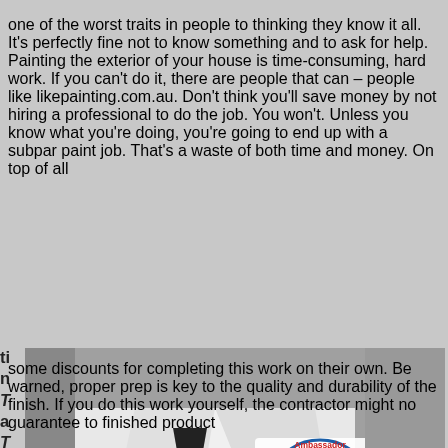one of the worst traits in people is thinking they know it all. It's perfectly fine not to know something and to ask for help. Painting the exterior of your house is time-consuming, hard work. If you can't do it, there are people that can – people like likepainting.com.au. Don't think you'll save money by not hiring a professional to do the job. You won't. Unless you know what you're doing, you're going to end up with a subpar paint job. That's a waste of both time and money. On top of all ti n T a T h b s d k P p t some discounts for completing this work on their own. Be warned, proper prep is key to the quality and durability of the finish. If you do this work yourself, the contractor might no guarantee to finished product
[Figure (photo): Black and white photo of a person in a white dress shirt and black polka-dot tie, with an Ambassador Painting logo badge on the shirt. A large bright yellow triangle/geometric shape overlays the right and bottom portion of the image.]